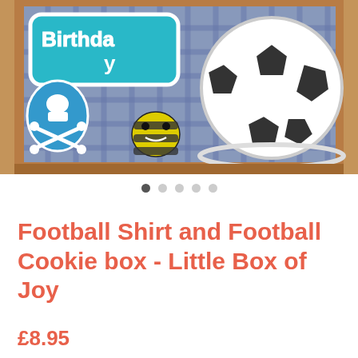[Figure (photo): A cardboard box containing decorated cookies: a blue birthday sign cookie with skull and crossbones, a bee-shaped cookie, and a football/soccer ball cookie, displayed on a plaid background.]
Football Shirt and Football Cookie box - Little Box of Joy
£8.95